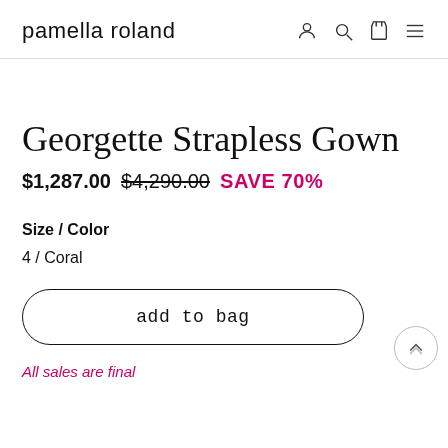pamella roland
Georgette Strapless Gown
$1,287.00 $4,290.00 SAVE 70%
Size / Color
4 / Coral
add to bag
All sales are final